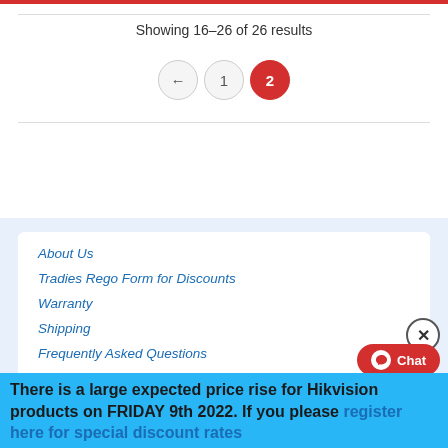Showing 16–26 of 26 results
[Figure (other): Pagination controls with back arrow, page 1 button, and page 2 button (active, red)]
About Us
Tradies Rego Form for Discounts
Warranty
Shipping
Frequently Asked Questions
Terms and Conditions
Contact Us
There is a large expected price rise for Hikvision products on FRIDAY 9th 2022. If you please register here for special discount rates